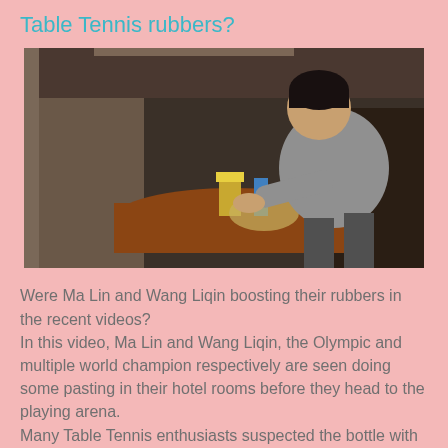Table Tennis rubbers?
[Figure (photo): A person sitting at a hotel room table, leaning forward and working with something on the table. A bottle with a yellow cap is visible on the table.]
Were Ma Lin and Wang Liqin boosting their rubbers in the recent videos?
In this video, Ma Lin and Wang Liqin, the Olympic and multiple world champion respectively are seen doing some pasting in their hotel rooms before they head to the playing arena.
Many Table Tennis enthusiasts suspected the bottle with the yellow cap.
http://www.youtube.com/watch?v=vDbqSMmboqQ
Source: www.tabletennisdaily.co.uk